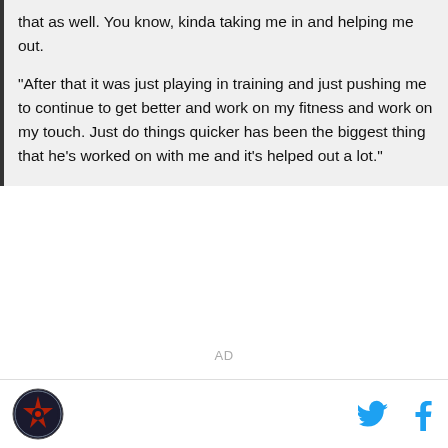that as well. You know, kinda taking me in and helping me out.

"After that it was just playing in training and just pushing me to continue to get better and work on my fitness and work on my touch. Just do things quicker has been the biggest thing that he's worked on with me and it's helped out a lot."
AD
[Figure (logo): Circular logo with red and blue design on dark background, bottom left footer]
[Figure (logo): Twitter bird icon in cyan/teal color, bottom right footer]
[Figure (logo): Facebook 'f' icon in cyan/teal color, bottom right footer]